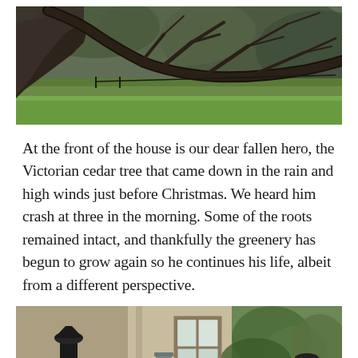[Figure (photo): A large fallen Victorian cedar tree lying horizontally across a green lawn, with bare branches spreading wide to the right. The tree's trunk leans against a thatched or angled structure on the left. Background shows more trees and a fence line.]
At the front of the house is our dear fallen hero, the Victorian cedar tree that came down in the rain and high winds just before Christmas. We heard him crash at three in the morning. Some of the roots remained intact, and thankfully the greenery has begun to grow again so he continues his life, albeit from a different perspective.
[Figure (photo): A partial view of a house exterior with stone walls covered in climbing ivy/plants, a white-framed window, and decorative black garden ornaments or planters in the foreground. Green shrubbery surrounds the scene.]